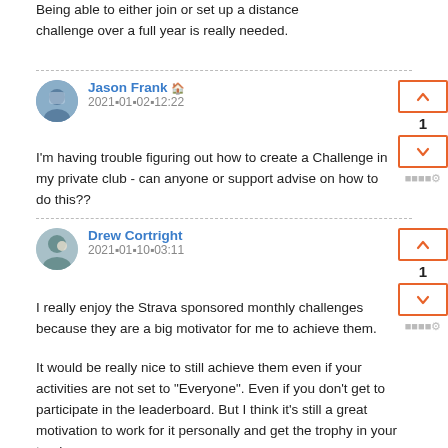Being able to either join or set up a distance challenge over a full year is really needed.
Jason Frank 🏠
2021▪01▪02▪12:22
I'm having trouble figuring out how to create a Challenge in my private club - can anyone or support advise on how to do this??
Drew Cortright
2021▪01▪10▪03:11
I really enjoy the Strava sponsored monthly challenges because they are a big motivator for me to achieve them.
It would be really nice to still achieve them even if your activities are not set to "Everyone". Even if you don't get to participate in the leaderboard. But I think it's still a great motivation to work for it personally and get the trophy in your trophy case.